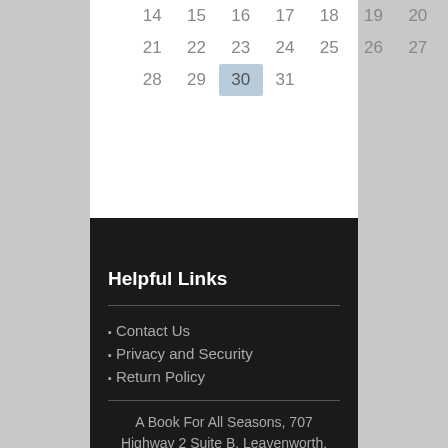| 14 | 15 | 16 | 17 | 18 | 19 | 20 |
| 21 | 22 | 23 | 24 | 25 | 26 | 27 |
| 28 | 29 | 30 | 31 |  |  |  |
Helpful Links
Contact Us
Privacy and Security
Return Policy
A Book For All Seasons, 707 Highway 2 Suite B, Leavenworth, WA 98826
abookfor@earthlink.net,